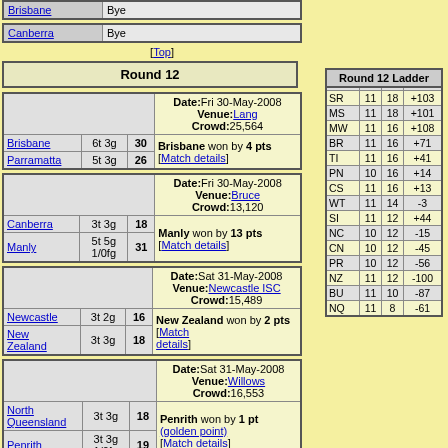| Brisbane | Bye |
| --- | --- |
| Canberra | Bye |
| --- | --- |
[Top]
Round 12
| Brisbane | 6t 3g | 30 | Date:Fri 30-May-2008 Venue:Lang Crowd:25,564 Brisbane won by 4 pts [Match details] |
| --- | --- | --- | --- |
| Parramatta | 5t 3g | 26 | Brisbane won by 4 pts [Match details] |
| Canberra | 3t 3g | 18 | Date:Fri 30-May-2008 Venue:Bruce Crowd:13,120 |
| --- | --- | --- | --- |
| Manly | 5t 5g 1/0fg | 31 | Manly won by 13 pts [Match details] |
| Newcastle | 3t 2g | 16 | Date:Sat 31-May-2008 Venue:Newcastle ISC Crowd:15,489 |
| --- | --- | --- | --- |
| New Zealand | 3t 3g | 18 | New Zealand won by 2 pts [Match details] |
| North Queensland | 3t 3g | 18 | Date:Sat 31-May-2008 Venue:Willows Crowd:16,553 |
| --- | --- | --- | --- |
| Penrith | 3t 3g 1/0fg | 19 | Penrith won by 1 pt (golden point) [Match details] |
| Melbourne | 8t 7g | 46 | Date:Sat 31-May-2008 Venue:Olympic Crowd:12,251 |
| --- | --- | --- | --- |
| Round 12 Ladder |
| --- |
| SR | 11 | 18 | +103 |
| MS | 11 | 18 | +101 |
| MW | 11 | 16 | +108 |
| BR | 11 | 16 | +71 |
| TI | 11 | 16 | +41 |
| PN | 10 | 16 | +14 |
| CS | 11 | 16 | +13 |
| WT | 11 | 14 | -3 |
| SI | 11 | 12 | +44 |
| NC | 10 | 12 | -15 |
| CN | 10 | 12 | -45 |
| PR | 10 | 12 | -56 |
| NZ | 11 | 12 | -100 |
| BU | 11 | 10 | -87 |
| NQ | 11 | 8 | -61 |